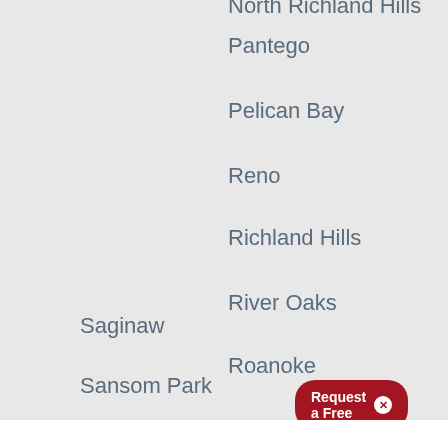North Richland Hills
Pantego
Pelican Bay
Reno
Richland Hills
River Oaks
Roanoke
Saginaw
Sansom Park
Southlake
Trophy Club
[Figure (other): Red rounded button overlay showing 'Request a Free' with a white close X button, partially visible]
This website uses cookies to help provide you the best experience possible. See our Privacy Policy for more information. By continuing without changing your cookie settings within your browser, you are agreeing to our use of cookies.
ACCEPT